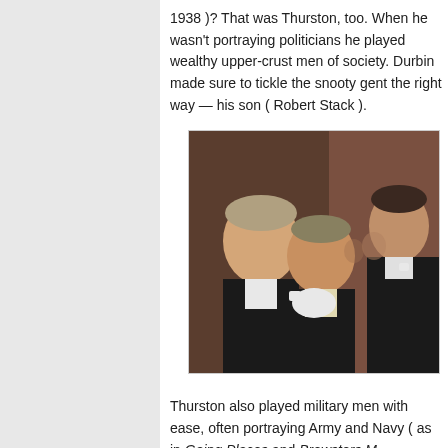1938 )? That was Thurston, too. When he wasn't portraying politicians he played wealthy upper-crust men of society. Durbin made sure to tickle the snooty gent the right way — his son ( Robert Stack ).
[Figure (photo): A color photograph showing three men in formal tuxedos/white tie. Two older men appear to be arguing or interacting intensely in the center and left, while a younger man stands on the right looking stern.]
Thurston also played military men with ease, often portraying Army and Navy ( as in Going Places and Brewsters M...